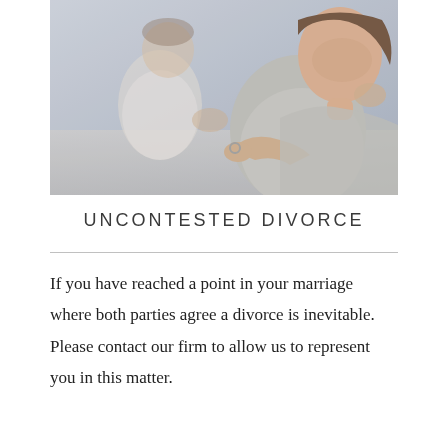[Figure (photo): A couple sitting apart on a couch; a woman in the foreground holds a wedding ring and looks down with a troubled expression; a man sits blurred in the background]
UNCONTESTED DIVORCE
If you have reached a point in your marriage where both parties agree a divorce is inevitable. Please contact our firm to allow us to represent you in this matter.